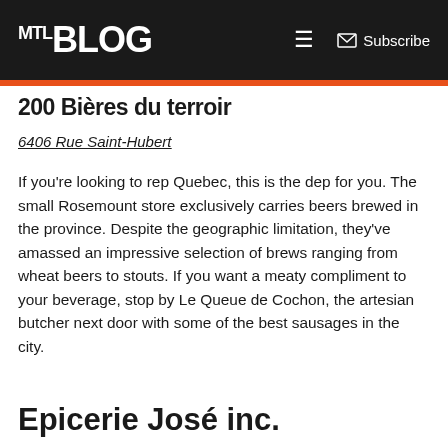MTL Blog — Subscribe
200 Bières du terroir
6406 Rue Saint-Hubert
If you're looking to rep Quebec, this is the dep for you. The small Rosemount store exclusively carries beers brewed in the province. Despite the geographic limitation, they've amassed an impressive selection of brews ranging from wheat beers to stouts. If you want a meaty compliment to your beverage, stop by Le Queue de Cochon, the artesian butcher next door with some of the best sausages in the city.
Epicerie José inc.